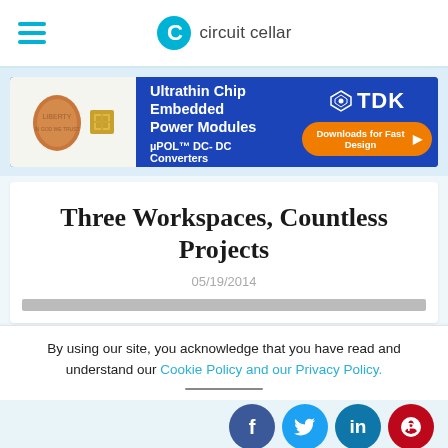circuit cellar
[Figure (infographic): TDK advertisement banner: Ultrathin Chip Embedded Power Modules, µPOL™ DC-DC Converters, Downloads for Fast Design button]
Three Workspaces, Countless Projects
05/19/2014
By using our site, you acknowledge that you have read and understand our Cookie Policy and our Privacy Policy.
[Figure (infographic): Social media share icons: Facebook, Twitter, LinkedIn, Pinterest]